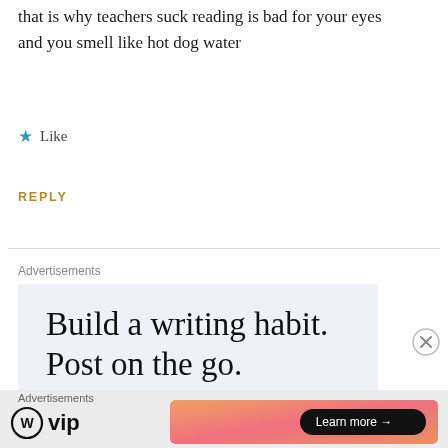that is why teachers suck reading is bad for your eyes and you smell like hot dog water
★ Like
REPLY
Advertisements
[Figure (other): Advertisement box with light blue-grey background containing text: Build a writing habit. Post on the go.]
Advertisements
[Figure (other): Bottom advertisement strip showing WordPress VIP logo on left and a gradient orange/pink ad with Learn more button on right]